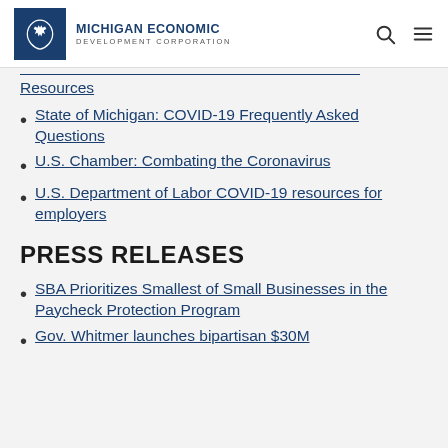MICHIGAN ECONOMIC DEVELOPMENT CORPORATION
Resources
State of Michigan: COVID-19 Frequently Asked Questions
U.S. Chamber: Combating the Coronavirus
U.S. Department of Labor COVID-19 resources for employers
PRESS RELEASES
SBA Prioritizes Smallest of Small Businesses in the Paycheck Protection Program
Gov. Whitmer launches bipartisan $30M